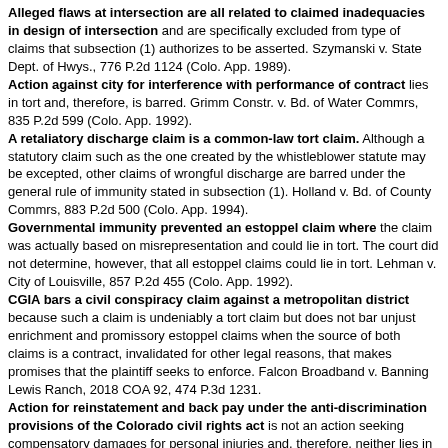Alleged flaws at intersection are all related to claimed inadequacies in design of intersection and are specifically excluded from type of claims that subsection (1) authorizes to be asserted. Szymanski v. State Dept. of Hwys., 776 P.2d 1124 (Colo. App. 1989).
Action against city for interference with performance of contract lies in tort and, therefore, is barred. Grimm Constr. v. Bd. of Water Commrs, 835 P.2d 599 (Colo. App. 1992).
A retaliatory discharge claim is a common-law tort claim. Although a statutory claim such as the one created by the whistleblower statute may be excepted, other claims of wrongful discharge are barred under the general rule of immunity stated in subsection (1). Holland v. Bd. of County Commrs, 883 P.2d 500 (Colo. App. 1994).
Governmental immunity prevented an estoppel claim where the claim was actually based on misrepresentation and could lie in tort. The court did not determine, however, that all estoppel claims could lie in tort. Lehman v. City of Louisville, 857 P.2d 455 (Colo. App. 1992).
CGIA bars a civil conspiracy claim against a metropolitan district because such a claim is undeniably a tort claim but does not bar unjust enrichment and promissory estoppel claims when the source of both claims is a contract, invalidated for other legal reasons, that makes promises that the plaintiff seeks to enforce. Falcon Broadband v. Banning Lewis Ranch, 2018 COA 92, 474 P.3d 1231.
Action for reinstatement and back pay under the anti-discrimination provisions of the Colorado civil rights act is not an action seeking compensatory damages for personal injuries and, therefore, neither lies in tort nor could lie in tort for purposes of the CGIA. City of Colo. Springs v. Conners, 993 P.2d 1167 (Colo. 2000).
Action by health maintenance organization against department of health care policy and financing was grounded in contract law and, consequently, not barred by sovereign immunity. Parties were bound